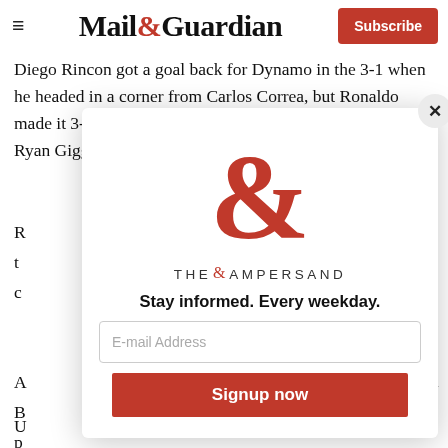Mail&Guardian — Subscribe
Diego Rincon got a goal back for Dynamo in the 3-1 when he headed in a corner from Carlos Correa, but Ronaldo made it 3-1 when he headed into the net from a cross by Ryan Giggs.
[Figure (other): Modal popup overlay with 'The Ampersand' logo (large red ampersand symbol), tagline 'THE AMPERSAND', headline 'Stay informed. Every weekday.', email input field labeled 'E-mail Address', and a red 'Signup now' button. Close (X) button in top right corner.]